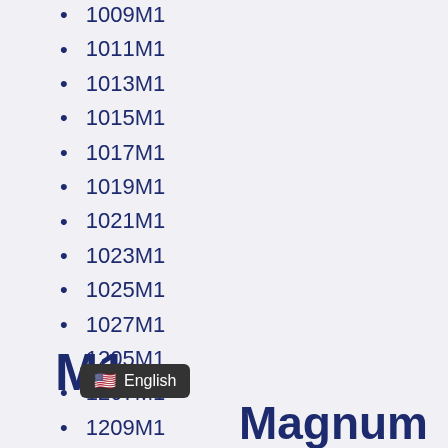1009M1
1011M1
1013M1
1015M1
1017M1
1019M1
1021M1
1023M1
1025M1
1027M1
1205M1
1207M1
1209M1
M1
Magnum